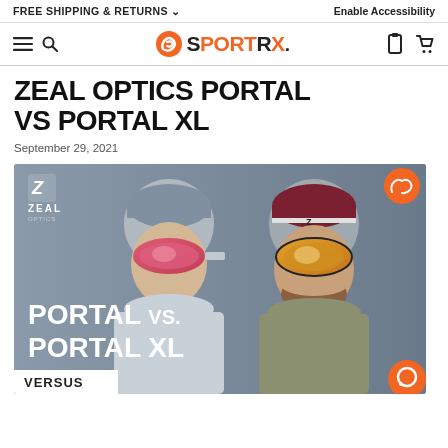FREE SHIPPING & RETURNS ∨    Enable Accessibility
SportRx logo navigation bar
ZEAL OPTICS PORTAL VS PORTAL XL
September 29, 2021
[Figure (photo): Two people wearing Zeal Optics ski goggles against a gray background. Left person wears gray beanie and pink/red mirrored goggles; right person wears dark red beanie and amber mirrored goggles. Text overlay reads 'PORTAL vs. PORTAL XL'. Bottom left shows 'VERSUS' badge. Zeal Optics logo top left, SportRx logo top right.]